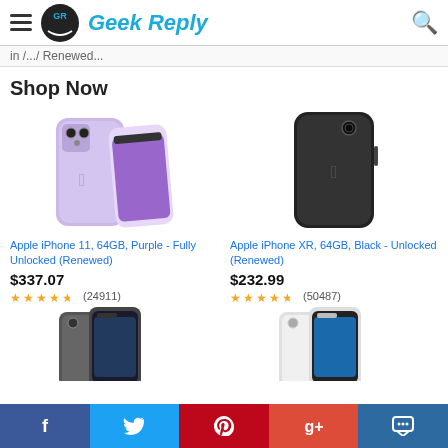Geek Reply
in /.../ Renewed...
Shop Now
[Figure (photo): Apple iPhone 11, 64GB, Purple - Fully Unlocked (Renewed) product image]
Apple iPhone 11, 64GB, Purple - Fully Unlocked (Renewed)
$337.07
★★★★½ (24911)
[Figure (photo): Apple iPhone XR, 64GB, Black - Unlocked (Renewed) product image]
Apple iPhone XR, 64GB, Black - Unlocked (Renewed)
$232.99
★★★★½ (50487)
[Figure (photo): iPhone SE (second generation) Space Gray product image (partial)]
[Figure (photo): iPhone SE (second generation) White product image (partial)]
f  Twitter  Pinterest  g+  Comment